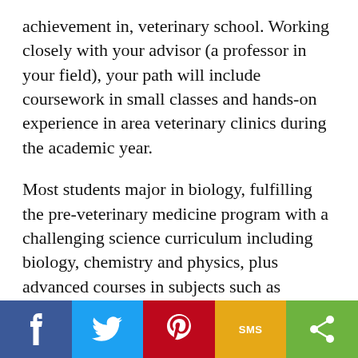achievement in, veterinary school. Working closely with your advisor (a professor in your field), your path will include coursework in small classes and hands-on experience in area veterinary clinics during the academic year.
Most students major in biology, fulfilling the pre-veterinary medicine program with a challenging science curriculum including biology, chemistry and physics, plus advanced courses in subjects such as histology, immunology, neuroanatomy and biochemistry.
While vet school is a challenge, you'll discover that Augustana's liberal arts education prepared
[Figure (infographic): Social sharing bar with five buttons: Facebook (dark blue), Twitter (light blue), Pinterest (red), SMS (amber/gold), Share (green)]